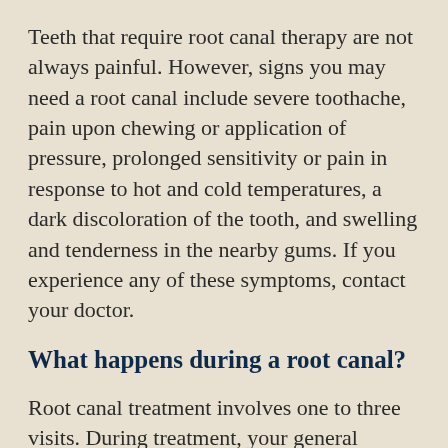Teeth that require root canal therapy are not always painful. However, signs you may need a root canal include severe toothache, pain upon chewing or application of pressure, prolonged sensitivity or pain in response to hot and cold temperatures, a dark discoloration of the tooth, and swelling and tenderness in the nearby gums. If you experience any of these symptoms, contact your doctor.
What happens during a root canal?
Root canal treatment involves one to three visits. During treatment, your general dentist or endodontist (a dentist who specializes in problems with the nerves of the teeth) removes the affected tissue. Next, the interior of the tooth will be cleaned and sealed. Finally, the tooth is filled with a dental composite. If your tooth